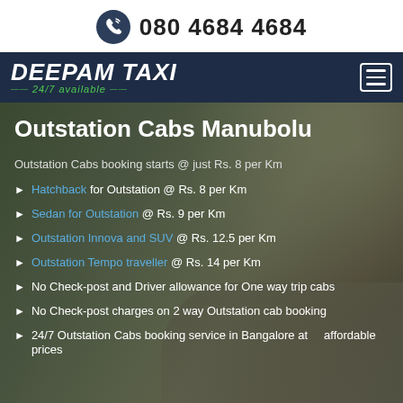080 4684 4684
[Figure (logo): Deepam Taxi logo with 24/7 available tagline on dark navy navigation bar]
Outstation Cabs Manubolu
Outstation Cabs booking starts @ just Rs. 8 per Km
Hatchback for Outstation @ Rs. 8 per Km
Sedan for Outstation @ Rs. 9 per Km
Outstation Innova and SUV @ Rs. 12.5 per Km
Outstation Tempo traveller @ Rs. 14 per Km
No Check-post and Driver allowance for One way trip cabs
No Check-post charges on 2 way Outstation cab booking
24/7 Outstation Cabs booking service in Bangalore at affordable prices